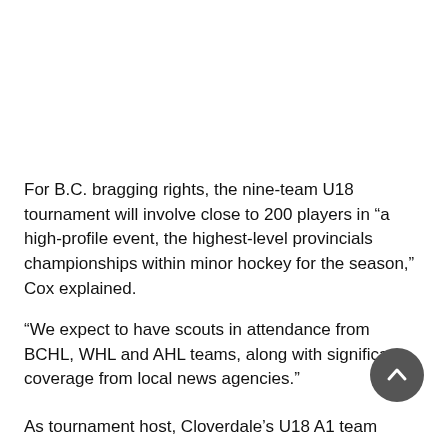For B.C. bragging rights, the nine-team U18 tournament will involve close to 200 players in “a high-profile event, the highest-level provincials championships within minor hockey for the season,” Cox explained.
“We expect to have scouts in attendance from BCHL, WHL and AHL teams, along with significant coverage from local news agencies.”
As tournament host, Cloverdale’s U18 A1 team earns an